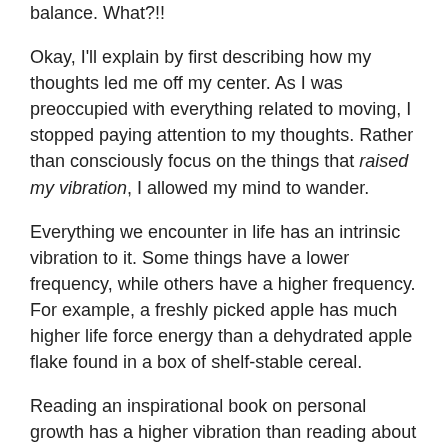balance. What?!!
Okay, I'll explain by first describing how my thoughts led me off my center. As I was preoccupied with everything related to moving, I stopped paying attention to my thoughts. Rather than consciously focus on the things that raised my vibration, I allowed my mind to wander.
Everything we encounter in life has an intrinsic vibration to it. Some things have a lower frequency, while others have a higher frequency. For example, a freshly picked apple has much higher life force energy than a dehydrated apple flake found in a box of shelf-stable cereal.
Reading an inspirational book on personal growth has a higher vibration than reading about what Kim Kardashian wore during her pregnancy. You may still be doing the same act of reading, but one version raises your vibration, while the other lowers it.